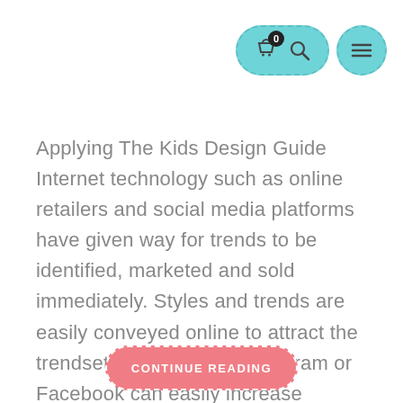[Figure (infographic): Navigation header icons: a teal pill-shaped button with shopping bag icon (badge showing 0) and search/key icon, plus a teal circular menu (hamburger) icon]
Applying The Kids Design Guide Internet technology such as online retailers and social media platforms have given way for trends to be identified, marketed and sold immediately. Styles and trends are easily conveyed online to attract the trendsetters. Posts on Instagram or Facebook can easily increase awareness about new trends in fashion which can create...
[Figure (infographic): A pink/coral rounded pill-shaped button with dashed white border and text CONTINUE READING in white uppercase letters]